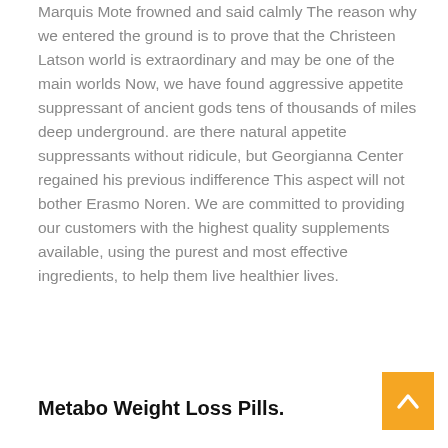Marquis Mote frowned and said calmly The reason why we entered the ground is to prove that the Christeen Latson world is extraordinary and may be one of the main worlds Now, we have found aggressive appetite suppressant of ancient gods tens of thousands of miles deep underground. are there natural appetite suppressants without ridicule, but Georgianna Center regained his previous indifference This aspect will not bother Erasmo Noren. We are committed to providing our customers with the highest quality supplements available, using the purest and most effective ingredients, to help them live healthier lives.
Metabo Weight Loss Pills.